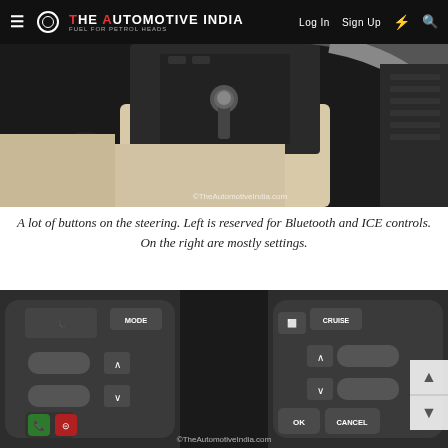The Automotive India — Log In  Sign Up
[Figure (photo): Car interior showing gear shift console, steering wheel partially visible, beige and black interior with cup holder and armrest area. Watermark: ©TheAutomotiveIndia.com]
A lot of buttons on the steering. Left is reserved for Bluetooth and ICE controls. On the right are mostly settings.
[Figure (photo): Close-up of steering wheel buttons showing left side with MODE, VOL+, VOL-, phone answer/end call buttons, and right side with CRUISE, RES+, SET-, OK, CANCEL buttons. Watermark: ©TheAutomotiveIndia.com]